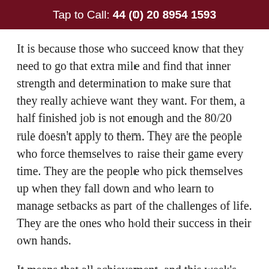Tap to Call: 44 (0) 20 8954 1593
It is because those who succeed know that they need to go that extra mile and find that inner strength and determination to make sure that they really achieve want they want. For them, a half finished job is not enough and the 80/20 rule doesn't apply to them. They are the people who force themselves to raise their game every time. They are the people who pick themselves up when they fall down and who learn to manage setbacks as part of the challenges of life. They are the ones who hold their success in their own hands.
It means that all achievement, and this week's trophy for Murray, is the result of long hours of hard work and a determination to be as good as one can be. It means being tenacious during the inevitable